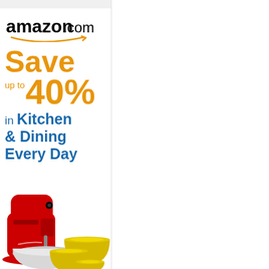[Figure (logo): Amazon.com logo with orange smile/arrow beneath the text]
Save up to 40%
in Kitchen & Dining Every Day
[Figure (photo): Red KitchenAid stand mixer with stainless steel bowl, and yellow ceramic dinnerware set (plates and bowl)]
Save on